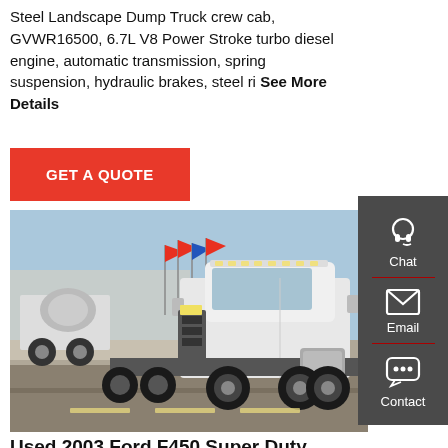Steel Landscape Dump Truck crew cab, GVWR16500, 6.7L V8 Power Stroke turbo diesel engine, automatic transmission, spring suspension, hydraulic brakes, steel ri See More Details
[Figure (other): Red GET A QUOTE button]
[Figure (photo): Photo of large white semi-truck / tractor unit parked in a lot with other commercial trucks including a cement mixer; orange/red flags visible in background; clear blue sky.]
Used 2003 Ford F450 Super Duty...